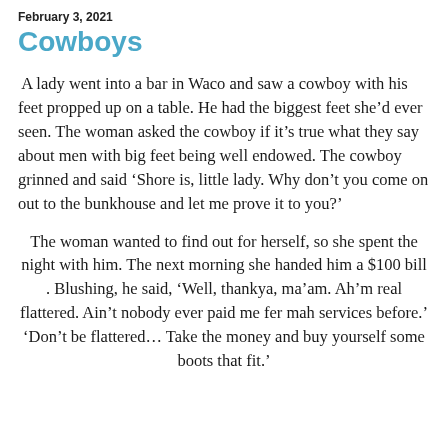February 3, 2021
Cowboys
A lady went into a bar in Waco and saw a cowboy with his feet propped up on a table. He had the biggest feet she’d ever seen. The woman asked the cowboy if it’s true what they say about men with big feet being well endowed. The cowboy grinned and said ‘Shore is, little lady. Why don’t you come on out to the bunkhouse and let me prove it to you?’
The woman wanted to find out for herself, so she spent the night with him. The next morning she handed him a $100 bill . Blushing, he said, ‘Well, thankya, ma’am. Ah’m real flattered. Ain’t nobody ever paid me fer mah services before.’ ‘Don’t be flattered… Take the money and buy yourself some boots that fit.’